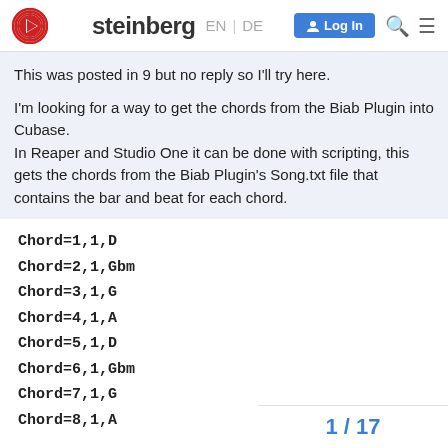steinberg EN | DE Log In
This was posted in 9 but no reply so I'll try here.
I'm looking for a way to get the chords from the Biab Plugin into Cubase.
In Reaper and Studio One it can be done with scripting, this gets the chords from the Biab Plugin's Song.txt file that contains the bar and beat for each chord.
Chord=1,1,D
Chord=2,1,Gbm
Chord=3,1,G
Chord=4,1,A
Chord=5,1,D
Chord=6,1,Gbm
Chord=7,1,G
Chord=8,1,A
. . . .
1 / 17